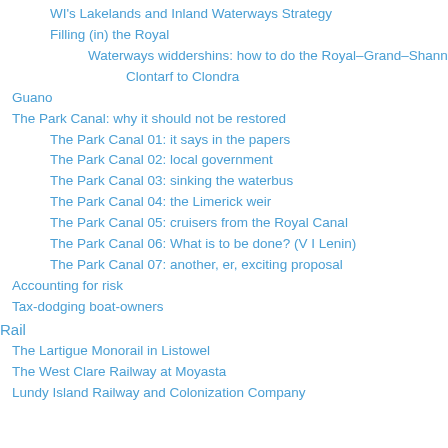WI's Lakelands and Inland Waterways Strategy
Filling (in) the Royal
Waterways widdershins: how to do the Royal–Grand–Shannon ring
Clontarf to Clondra
Guano
The Park Canal: why it should not be restored
The Park Canal 01: it says in the papers
The Park Canal 02: local government
The Park Canal 03: sinking the waterbus
The Park Canal 04: the Limerick weir
The Park Canal 05: cruisers from the Royal Canal
The Park Canal 06: What is to be done? (V I Lenin)
The Park Canal 07: another, er, exciting proposal
Accounting for risk
Tax-dodging boat-owners
Rail
The Lartigue Monorail in Listowel
The West Clare Railway at Moyasta
Lundy Island Railway and Colonization Company